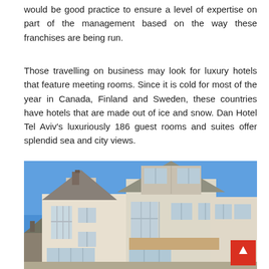would be good practice to ensure a level of expertise on part of the management based on the way these franchises are being run.
Those travelling on business may look for luxury hotels that feature meeting rooms. Since it is cold for most of the year in Canada, Finland and Sweden, these countries have hotels that are made out of ice and snow. Dan Hotel Tel Aviv's luxuriously 186 guest rooms and suites offer splendid sea and city views.
[Figure (photo): Photograph of a multi-storey white/cream hotel or guest house building with bay windows, dormer windows and a grey roof, photographed against a clear blue sky.]